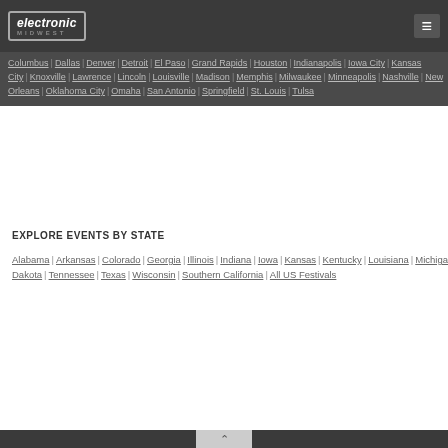Electronic Midwest header with logo and hamburger menu
Columbus | Dallas | Denver | Detroit | El Paso | Grand Rapids | Houston | Indianapolis | Iowa City | Kansas City | Knoxville | Lawrence | Lincoln | Louisville | Madison | Memphis | Milwaukee | Minneapolis | Nashville | New Orleans | Oklahoma City | Omaha | San Antonio | Springfield | St. Louis | Tulsa
EXPLORE EVENTS BY STATE
Alabama | Arkansas | Colorado | Georgia | Illinois | Indiana | Iowa | Kansas | Kentucky | Louisiana | Michigan | Minnesota | Mississippi | Missouri | Nebraska | Ohio | Oklahoma | South Dakota | Tennessee | Texas | Wisconsin | Southern California | All US Festivals